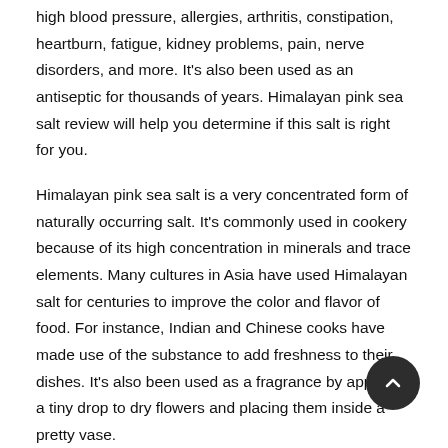high blood pressure, allergies, arthritis, constipation, heartburn, fatigue, kidney problems, pain, nerve disorders, and more. It's also been used as an antiseptic for thousands of years. Himalayan pink sea salt review will help you determine if this salt is right for you.
Himalayan pink sea salt is a very concentrated form of naturally occurring salt. It's commonly used in cookery because of its high concentration in minerals and trace elements. Many cultures in Asia have used Himalayan salt for centuries to improve the color and flavor of food. For instance, Indian and Chinese cooks have made use of the substance to add freshness to their dishes. It's also been used as a fragrance by applying a tiny drop to dry flowers and placing them inside a pretty vase.
The benefits of using Himalayan sea salt in your cooking are